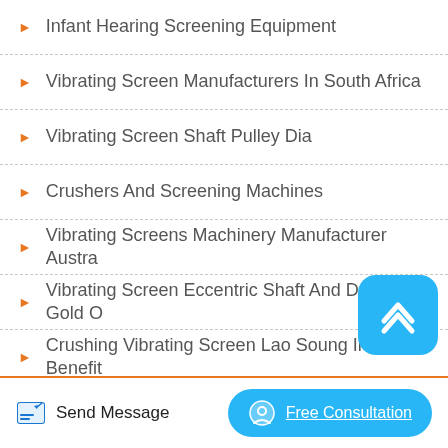Infant Hearing Screening Equipment
Vibrating Screen Manufacturers In South Africa
Vibrating Screen Shaft Pulley Dia
Crushers And Screening Machines
Vibrating Screens Machinery Manufacturer Austra
Vibrating Screen Eccentric Shaft And Detail Gold O
Crushing Vibrating Screen Lao Soung Invest Benefit
Menentukan Ukuran Mesh Vibrating Screen
Send Message | Free Consultation